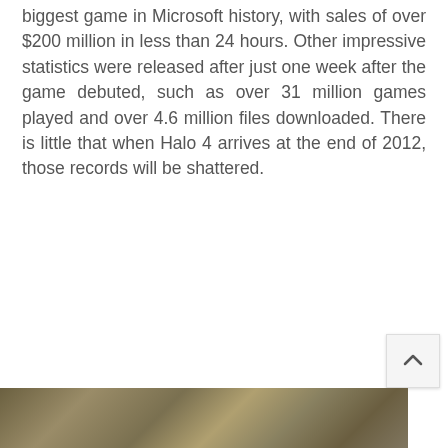biggest game in Microsoft history, with sales of over $200 million in less than 24 hours. Other impressive statistics were released after just one week after the game debuted, such as over 31 million games played and over 4.6 million files downloaded. There is little that when Halo 4 arrives at the end of 2012, those records will be shattered.
[Figure (photo): Partial view of a Halo-related image at the bottom of the page, showing a greenish-brown armored figure, cropped]